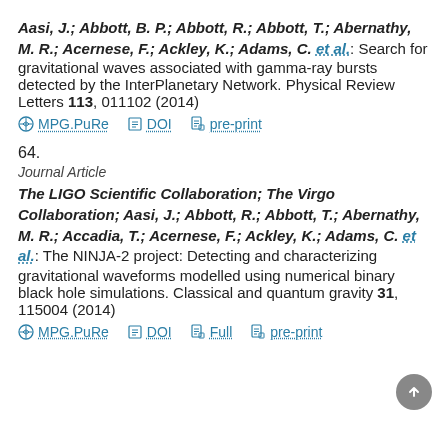Aasi, J.; Abbott, B. P.; Abbott, R.; Abbott, T.; Abernathy, M. R.; Acernese, F.; Ackley, K.; Adams, C. et al.: Search for gravitational waves associated with gamma-ray bursts detected by the InterPlanetary Network. Physical Review Letters 113, 011102 (2014)
MPG.PuRe | DOI | pre-print
64.
Journal Article
The LIGO Scientific Collaboration; The Virgo Collaboration; Aasi, J.; Abbott, R.; Abbott, T.; Abernathy, M. R.; Accadia, T.; Acernese, F.; Ackley, K.; Adams, C. et al.: The NINJA-2 project: Detecting and characterizing gravitational waveforms modelled using numerical binary black hole simulations. Classical and quantum gravity 31, 115004 (2014)
MPG.PuRe | DOI | Full | pre-print